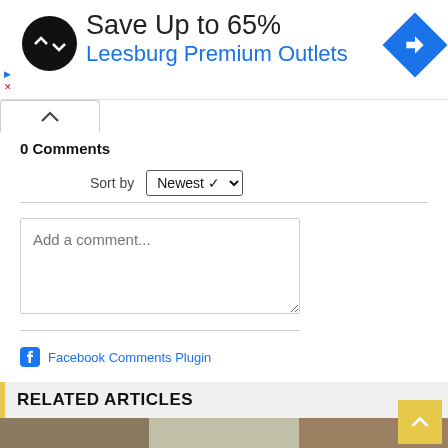[Figure (infographic): Advertisement banner: Save Up to 65% at Leesburg Premium Outlets, with logo and navigation icon]
0 Comments
Sort by Newest
Add a comment...
Facebook Comments Plugin
RELATED ARTICLES
[Figure (photo): Strip of three article thumbnail photos at bottom of page]